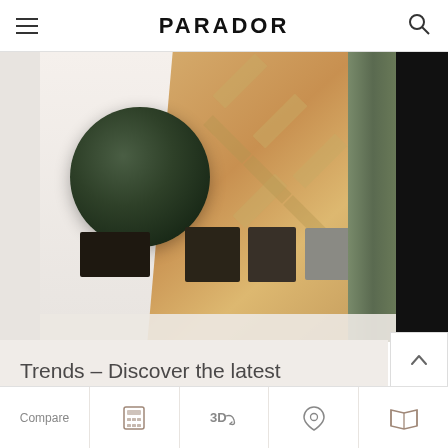PARADOR
[Figure (photo): Interior design photo showing herringbone wood flooring panels, a dark green marble circle object, small dark decorative objects on a shelf, and a green curtain on the right side.]
Trends – Discover the latest innovations in interior and flooring design.
Room Designer
Compare  [calculator icon]  3D  [location icon]  [booklet icon]